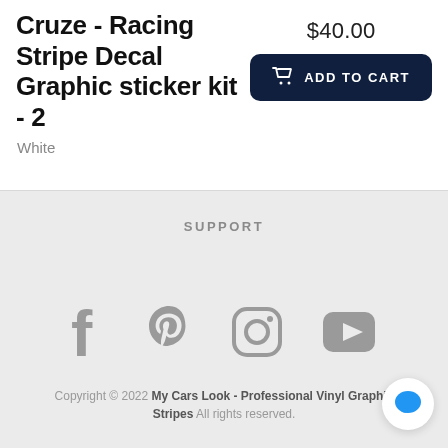Cruze - Racing Stripe Decal Graphic sticker kit - 2
White
$40.00
ADD TO CART
SUPPORT
[Figure (illustration): Social media icons: Facebook, Pinterest, Instagram, YouTube]
Copyright © 2022 My Cars Look - Professional Vinyl Graphic Stripes. All rights reserved.